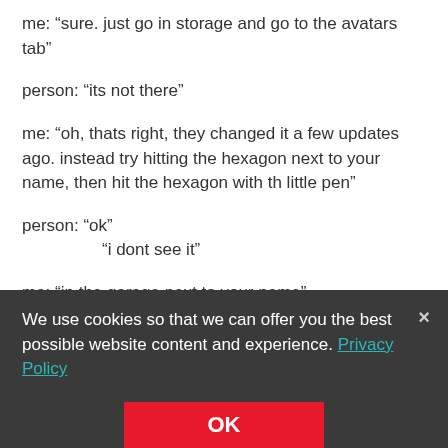me: “sure. just go in storage and go to the avatars tab”
person: "its not there"
me: “oh, thats right, they changed it a few updates ago. instead try hitting the hexagon next to your name, then hit the hexagon with th little pen”
person: “ok”
        “i dont see it”
me: “in the garage next to your name”
person: “in the top corner?”
me: “yes”
We use cookies so that we can offer you the best possible website content and experience. Privacy Policy
OK